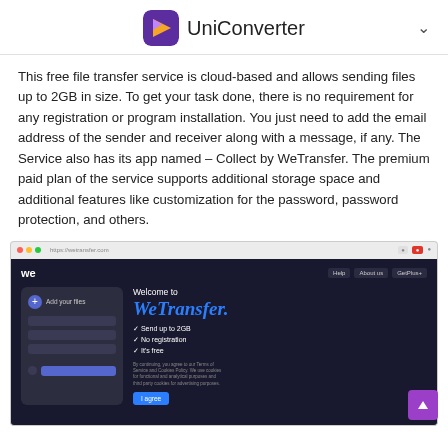UniConverter
This free file transfer service is cloud-based and allows sending files up to 2GB in size. To get your task done, there is no requirement for any registration or program installation. You just need to add the email address of the sender and receiver along with a message, if any. The Service also has its app named – Collect by WeTransfer. The premium paid plan of the service supports additional storage space and additional features like customization for the password, password protection, and others.
[Figure (screenshot): Screenshot of the WeTransfer website showing a dark-themed interface with 'Welcome to WeTransfer.' branding in blue, file upload panel on the left, and feature list including 'Send up to 2GB', 'No registration', 'It's free'. Navigation bar shows Help, About us, GetPlus+ buttons.]